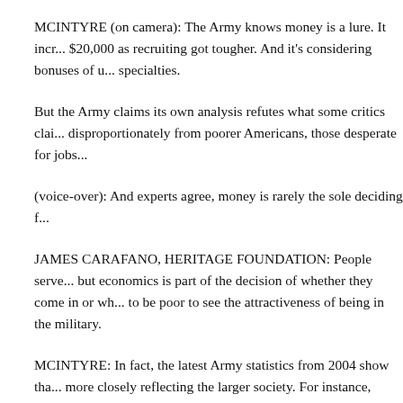MCINTYRE (on camera): The Army knows money is a lure. It incr... $20,000 as recruiting got tougher. And it's considering bonuses of u... specialties.
But the Army claims its own analysis refutes what some critics clai... disproportionately from poorer Americans, those desperate for jobs...
(voice-over): And experts agree, money is rarely the sole deciding f...
JAMES CARAFANO, HERITAGE FOUNDATION: People serve... but economics is part of the decision of whether they come in or wh... to be poor to see the attractiveness of being in the military.
MCINTYRE: In fact, the latest Army statistics from 2004 show tha... more closely reflecting the larger society. For instance, African-Am... overrepresented in the Army at 22 percent of the force, now make u...